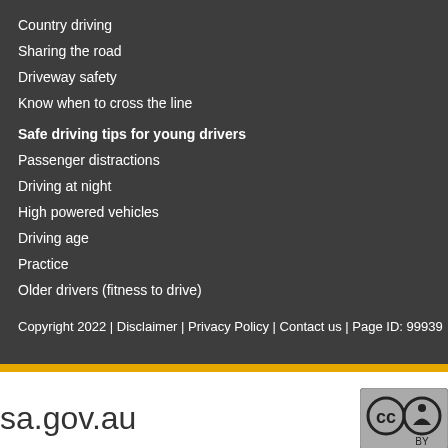Country driving
Sharing the road
Driveway safety
Know when to cross the line
Safe driving tips for young drivers
Passenger distractions
Driving at night
High powered vehicles
Driving age
Practice
Older drivers (fitness to drive)
Copyright 2022 | Disclaimer | Privacy Policy | Contact us | Page ID: 99939
sa.gov.au
[Figure (logo): Creative Commons CC BY badge logo]
This work is licensed under a Creative Commons Attribution 3.0 Australia Licence